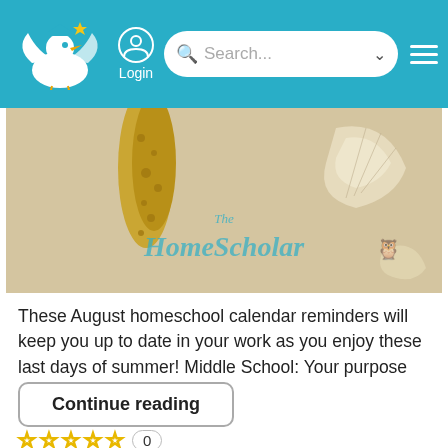[Figure (screenshot): Website navigation bar with logo (HomeScholar bird logo), Login icon, search bar, and hamburger menu on teal background]
[Figure (photo): Beach scene with seashells and starfish in sand, with 'The HomeScholar' watermark text overlay]
These August homeschool calendar reminders will keep you up to date in your work as you enjoy these last days of summer! Middle School: Your purpose a...
Continue reading
0
Tags:
#homeschool middle school, #homeschool high school
[Figure (infographic): Social share bar with teal pill-shaped background containing four circular icon buttons: Facebook, Pinterest, Twitter, Email]